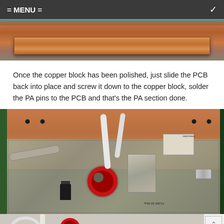= MENU =
[Figure (photo): Polished copper block lying on a workbench surface, viewed from above showing its elongated rectangular form with reddish-brown copper surface.]
Once the copper block has been polished, just slide the PCB back into place and screw it down to the copper block, solder the PA pins to the PCB and that's the PA section done.
[Figure (photo): Close-up of a PCB (printed circuit board) mounted on a copper block inside a green metal frame. The board shows various components including a red toroidal coil/inductor, white coaxial cables, metal clamps, a Freescale RF transistor chip, and other electronic components. The board has a dotted/perforated pattern around the edges.]
[Figure (photo): Partial view of another assembly showing white cable and red coil components, partially cropped at bottom of page.]